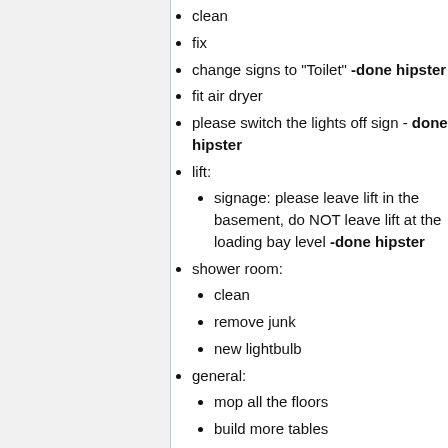clean
fix
change signs to "Toilet" -done hipster
fit air dryer
please switch the lights off sign - done hipster
lift:
signage: please leave lift in the basement, do NOT leave lift at the loading bay level -done hipster
shower room:
clean
remove junk
new lightbulb
general:
mop all the floors
build more tables